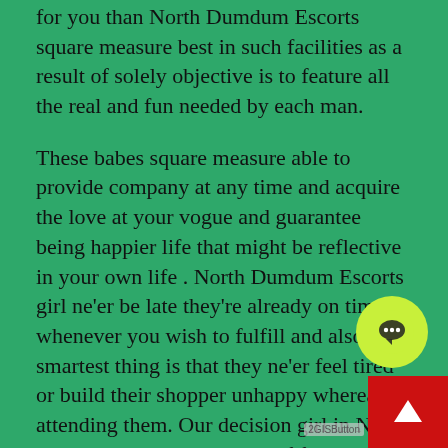for you than North Dumdum Escorts square measure best in such facilities as a result of solely objective is to feature all the real and fun needed by each man.
These babes square measure able to provide company at any time and acquire the love at your vogue and guarantee being happier life that might be reflective in your own life . North Dumdum Escorts girl ne'er be late they're already on time whenever you wish to fulfill and also the smartest thing is that they ne'er feel tired or build their shopper unhappy whereas attending them. Our decision girl in North Dumdum give a great deal of facilities within the hour of night to create happy. Their strategy starts with a great deal of fun needed by man from body massage, love, game or additional regardless of the shopper needs that point. With none intervention from anyone, man love there sensual activity and their well-toned and managed figures is enough to show what proportion tempting they're. As they produce a beautiful feeling in your heart you can't bear in mind